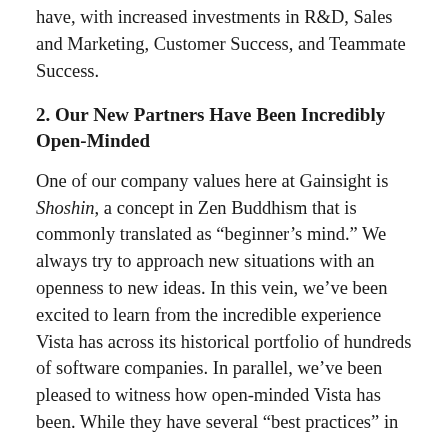have, with increased investments in R&D, Sales and Marketing, Customer Success, and Teammate Success.
2. Our New Partners Have Been Incredibly Open-Minded
One of our company values here at Gainsight is Shoshin, a concept in Zen Buddhism that is commonly translated as “beginner’s mind.” We always try to approach new situations with an openness to new ideas. In this vein, we’ve been excited to learn from the incredible experience Vista has across its historical portfolio of hundreds of software companies. In parallel, we’ve been pleased to witness how open-minded Vista has been. While they have several “best practices” in